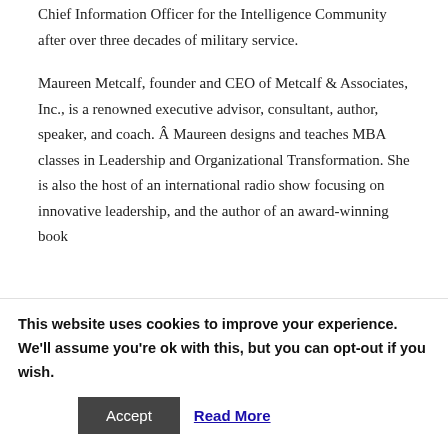Chief Information Officer for the Intelligence Community after over three decades of military service.
Maureen Metcalf, founder and CEO of Metcalf & Associates, Inc., is a renowned executive advisor, consultant, author, speaker, and coach. Â Maureen designs and teaches MBA classes in Leadership and Organizational Transformation. She is also the host of an international radio show focusing on innovative leadership, and the author of an award-winning book
This website uses cookies to improve your experience. We'll assume you're ok with this, but you can opt-out if you wish.